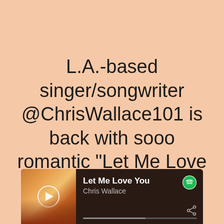L.A.-based singer/songwriter @ChrisWallace101 is back with sooo romantic “Let Me Love You”
[Figure (screenshot): Spotify player card showing 'Let Me Love You' by Chris Wallace with album art of a sunset silhouette, play button, progress bar, Spotify logo, and share icon on a dark brown background.]